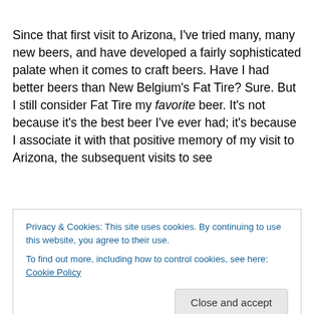Since that first visit to Arizona, I've tried many, many new beers, and have developed a fairly sophisticated palate when it comes to craft beers. Have I had better beers than New Belgium's Fat Tire? Sure. But I still consider Fat Tire my favorite beer. It's not because it's the best beer I've ever had; it's because I associate it with that positive memory of my visit to Arizona, the subsequent visits to see
Privacy & Cookies: This site uses cookies. By continuing to use this website, you agree to their use.
To find out more, including how to control cookies, see here: Cookie Policy
Close and accept
advertise on behalf of its client, a craft brewery—take away